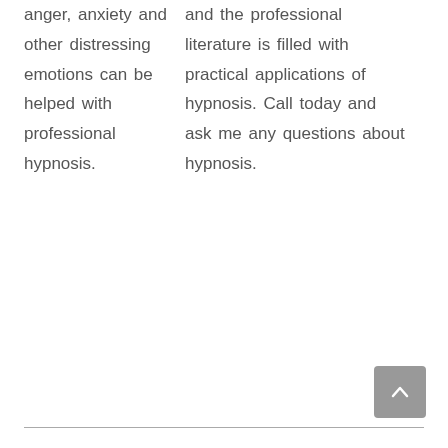anger, anxiety and other distressing emotions can be helped with professional hypnosis.
and the professional literature is filled with practical applications of hypnosis. Call today and ask me any questions about hypnosis.